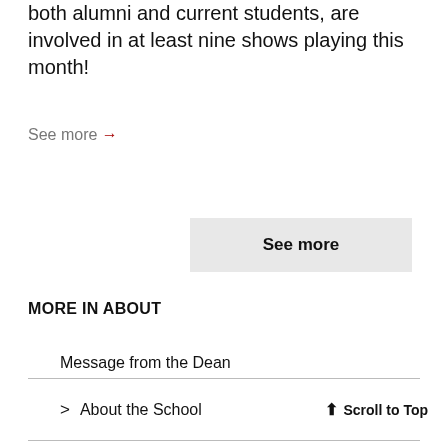both alumni and current students, are involved in at least nine shows playing this month!
See more →
See more
MORE IN ABOUT
Message from the Dean
> About the School
↑ Scroll to Top